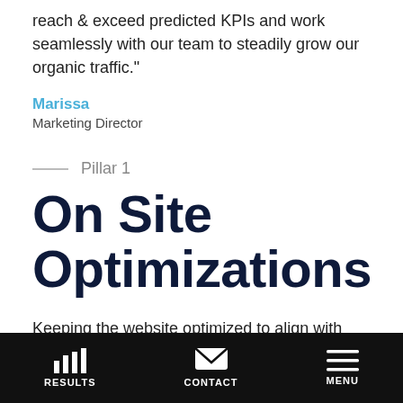reach & exceed predicted KPIs and work seamlessly with our team to steadily grow our organic traffic."
Marissa
Marketing Director
Pillar 1
On Site Optimizations
Keeping the website optimized to align with Google's ever-evolving onsite best practices.
RESULTS  CONTACT  MENU